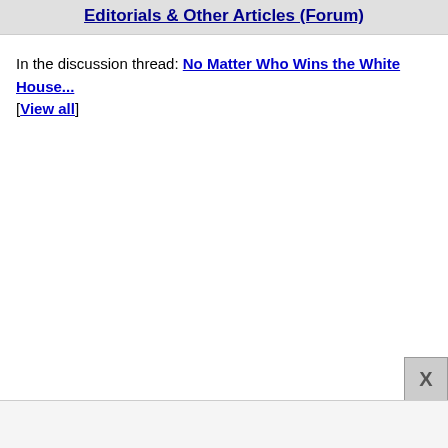Editorials & Other Articles (Forum)
In the discussion thread: No Matter Who Wins the White House... [View all]